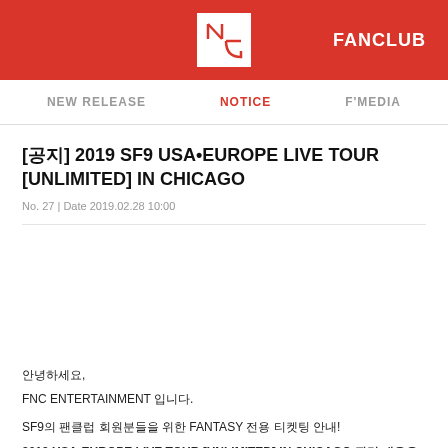FNC FANCLUB
NEW RELEASE | NOTICE | F'MEDIA
[공지] 2019 SF9 USA•EUROPE LIVE TOUR [UNLIMITED] IN CHICAGO
No. 27 | Date 2019.02.28 10:00
안녕하세요,
FNC ENTERTAINMENT 입니다.

SF9의 팬클럽 회원분들을 위한 FANTASY 전용 티켓팅 안내!
2019 USA•EUROPE LIVE TOUR [UNLIMITED] IN CHICAGO 관련 내용을 안내드립니다.

<2019 USA•EUROPE LIVE TOUR [UNLIMITED] IN CHICAGO>